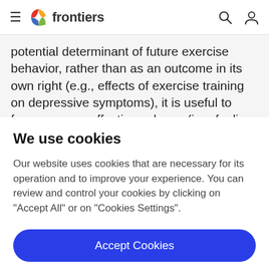frontiers
potential determinant of future exercise behavior, rather than as an outcome in its own right (e.g., effects of exercise training on depressive symptoms), it is useful to focus on core affective valence (i.e., feeling good versus bad). The core affective determinants of future this
We use cookies
Our website uses cookies that are necessary for its operation and to improve your experience. You can review and control your cookies by clicking on "Accept All" or on "Cookies Settings".
Accept Cookies
Cookies Settings